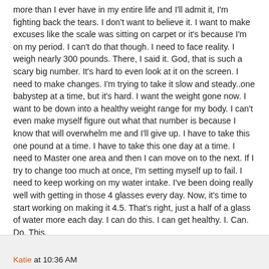more than I ever have in my entire life and I'll admit it, I'm fighting back the tears. I don't want to believe it. I want to make excuses like the scale was sitting on carpet or it's because I'm on my period. I can't do that though. I need to face reality. I weigh nearly 300 pounds. There, I said it. God, that is such a scary big number. It's hard to even look at it on the screen. I need to make changes. I'm trying to take it slow and steady..one babystep at a time, but it's hard. I want the weight gone now. I want to be down into a healthy weight range for my body. I can't even make myself figure out what that number is because I know that will overwhelm me and I'll give up. I have to take this one pound at a time. I have to take this one day at a time. I need to Master one area and then I can move on to the next. If I try to change too much at once, I'm setting myself up to fail. I need to keep working on my water intake. I've been doing really well with getting in those 4 glasses every day. Now, it's time to start working on making it 4.5. That's right, just a half of a glass of water more each day. I can do this. I can get healthy. I. Can. Do. This.
Katie at 10:36 AM